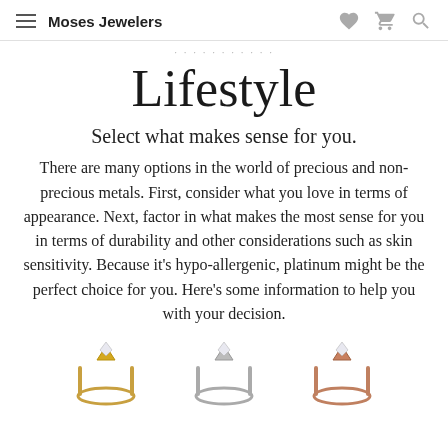Moses Jewelers
Lifestyle
Select what makes sense for you.
There are many options in the world of precious and non-precious metals. First, consider what you love in terms of appearance. Next, factor in what makes the most sense for you in terms of durability and other considerations such as skin sensitivity. Because it's hypo-allergenic, platinum might be the perfect choice for you. Here's some information to help you with your decision.
[Figure (photo): Three engagement rings shown at the bottom: a yellow gold ring on the left, a white/silver ring in the center, and a rose gold ring on the right, each with a solitaire diamond.]